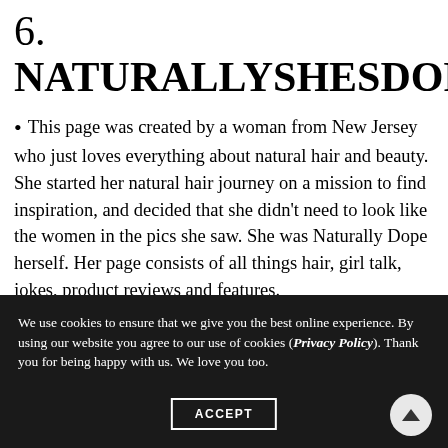6.
NATURALLYSHESDOPE.CO
This page was created by a woman from New Jersey who just loves everything about natural hair and beauty. She started her natural hair journey on a mission to find inspiration, and decided that she didn't need to look like the women in the pics she saw. She was Naturally Dope herself. Her page consists of all things hair, girl talk, jokes, product reviews and features.
We use cookies to ensure that we give you the best online experience. By using our website you agree to our use of cookies (Privacy Policy). Thank you for being happy with us. We love you too.
ACCEPT